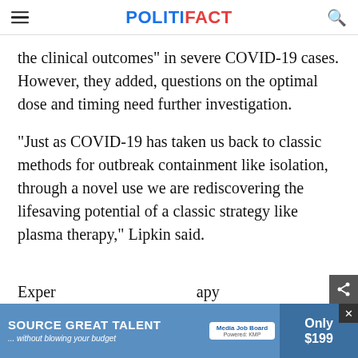POLITIFACT
the clinical outcomes" in severe COVID-19 cases. However, they added, questions on the optimal dose and timing need further investigation.
"Just as COVID-19 has taken us back to classic methods for outbreak containment like isolation, through a novel use we are rediscovering the lifesaving potential of a classic strategy like plasma therapy," Lipkin said.
Exper... apy
[Figure (screenshot): Advertisement banner: SOURCE GREAT TALENT ...without blowing your budget | Media Job Board | Only $199]